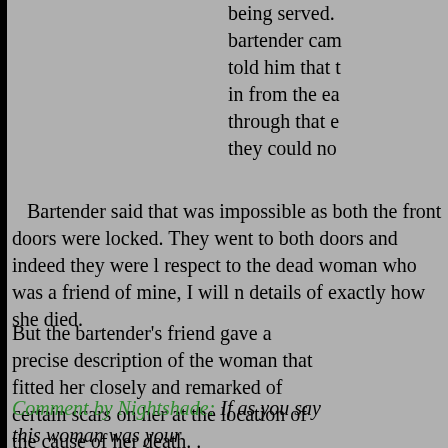being served. bartender cam told him that t in from the ea through that e they could no
Bartender said that was impossible as both the front doors were locked. They went to both doors and indeed they were l respect to the dead woman who was a friend of mine, I will n details of exactly how she died.
But the bartender's friend gave a precise description of the woman that fitted her closely and remarked of certain scars on her at the location of the cause of her death. . Submitted by Chris
Comment by Nightshade: If as you say this woman was your